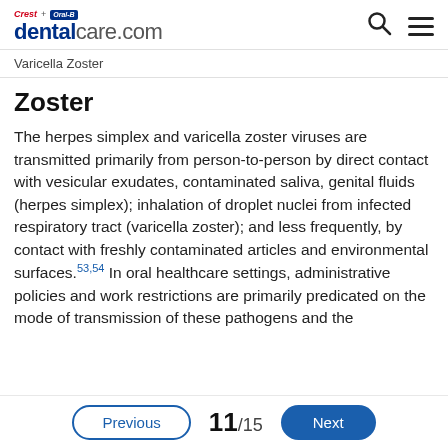Crest + Oral-B dentalcare.com
Varicella Zoster
Zoster
The herpes simplex and varicella zoster viruses are transmitted primarily from person-to-person by direct contact with vesicular exudates, contaminated saliva, genital fluids (herpes simplex); inhalation of droplet nuclei from infected respiratory tract (varicella zoster); and less frequently, by contact with freshly contaminated articles and environmental surfaces.53,54 In oral healthcare settings, administrative policies and work restrictions are primarily predicated on the mode of transmission of these pathogens and the
Previous  11/15  Next